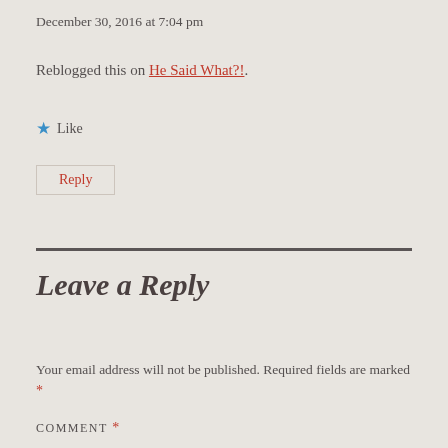December 30, 2016 at 7:04 pm
Reblogged this on He Said What?!.
★ Like
Reply
Leave a Reply
Your email address will not be published. Required fields are marked *
COMMENT *